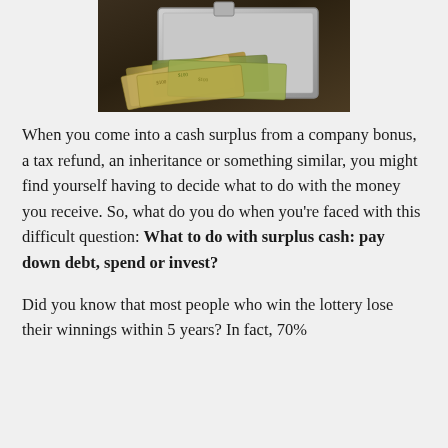[Figure (photo): Photo of stacks of US dollar bills spilling out of a metallic briefcase/case]
When you come into a cash surplus from a company bonus, a tax refund, an inheritance or something similar, you might find yourself having to decide what to do with the money you receive. So, what do you do when you're faced with this difficult question: What to do with surplus cash: pay down debt, spend or invest?
Did you know that most people who win the lottery lose their winnings within 5 years? In fact, 70%